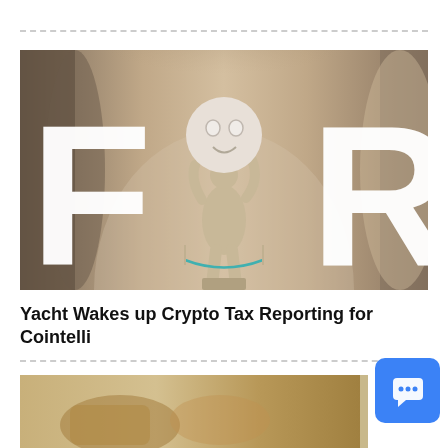[Figure (photo): Promotional image for Cointelli featuring the word FOR in large white letters overlaid on a classical statue holding a round smiley-face ball, in a gallery interior setting]
Yacht Wakes up Crypto Tax Reporting for Cointelli
[Figure (photo): Partially visible second article image at the bottom of the page, showing what appears to be colorful items]